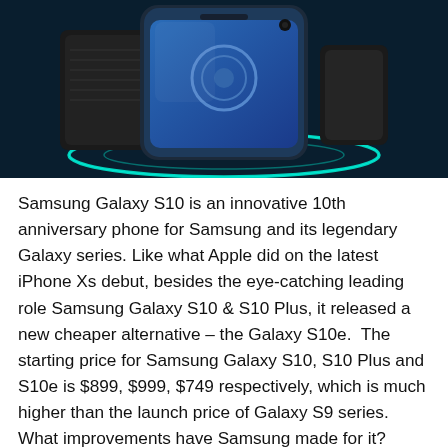[Figure (photo): Samsung Galaxy S10 smartphone with a blue screen showing a circle icon, displayed on a dark teal background with a glowing cyan ring beneath it, accompanied by a black case/stand.]
Samsung Galaxy S10 is an innovative 10th anniversary phone for Samsung and its legendary Galaxy series. Like what Apple did on the latest iPhone Xs debut, besides the eye-catching leading role Samsung Galaxy S10 & S10 Plus, it released a new cheaper alternative – the Galaxy S10e.  The starting price for Samsung Galaxy S10, S10 Plus and S10e is $899, $999, $749 respectively, which is much higher than the launch price of Galaxy S9 series. What improvements have Samsung made for it? Unlike most consumers I care more about the better life, but at the help of some sense for